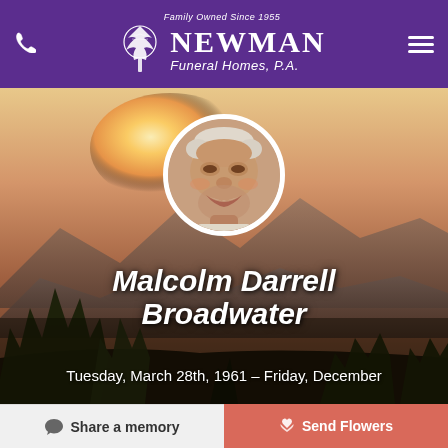Family Owned Since 1955 NEWMAN Funeral Homes, P.A.
[Figure (photo): Obituary page for Malcolm Darrell Broadwater. Hero image with sunset mountain landscape background, circular portrait photo of the deceased (older white male, smiling), large italic bold name text, and birth/death dates.]
Malcolm Darrell Broadwater
Tuesday, March 28th, 1961 – Friday, December
Share a memory
Send Flowers